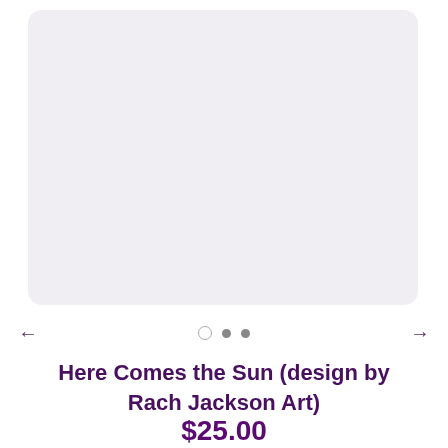[Figure (other): Product image placeholder — light gray rounded rectangle, no visible image content]
Here Comes the Sun (design by Rach Jackson Art)
$25.00